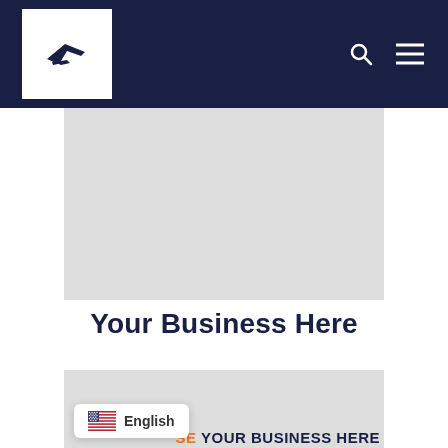Navigation bar with airplane logo, search icon, and menu icon
[Figure (other): Gray advertisement placeholder block (top)]
Your Business Here
[Figure (other): Gray advertisement placeholder block (bottom) with partial text 'SE YOUR BUSINESS HERE']
English
SE YOUR BUSINESS HERE